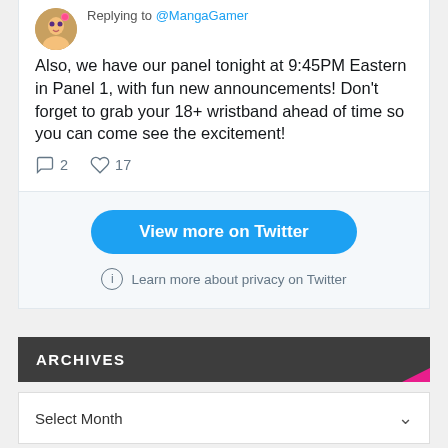Replying to @MangaGamer
Also, we have our panel tonight at 9:45PM Eastern in Panel 1, with fun new announcements! Don't forget to grab your 18+ wristband ahead of time so you can come see the excitement!
2 replies, 17 likes
View more on Twitter
Learn more about privacy on Twitter
ARCHIVES
Select Month